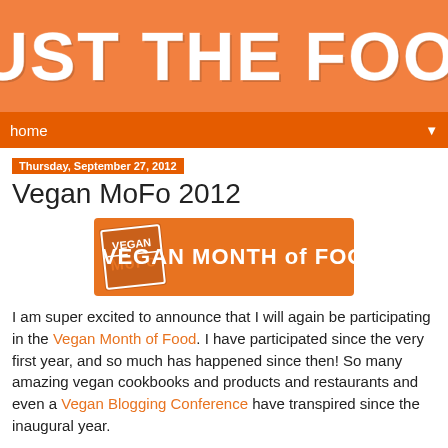JUST THE FOOD
home ▼
Thursday, September 27, 2012
Vegan MoFo 2012
[Figure (logo): Vegan Month of Food logo banner — orange rectangle with MoFo stamp logo on left and 'VEGAN MONTH of FOOD' text on right]
I am super excited to announce that I will again be participating in the Vegan Month of Food. I have participated since the very first year, and so much has happened since then!  So many amazing vegan cookbooks and products and restaurants and even a Vegan Blogging Conference have transpired since the inaugural year.